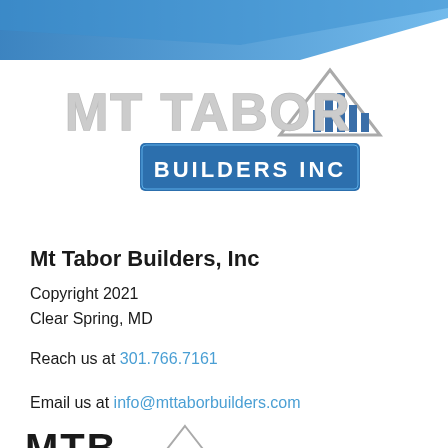[Figure (logo): Mt Tabor Builders Inc logo — decorative blue diagonal header bar at top, large grey/silver 'MT TABOR' text with triangle/building icon, blue rectangle banner with 'BUILDERS INC' in white]
Mt Tabor Builders, Inc
Copyright 2021
Clear Spring, MD
Reach us at 301.766.7161
Email us at info@mttaborbuilders.com
[Figure (logo): Partial MTB logo visible at bottom of page]